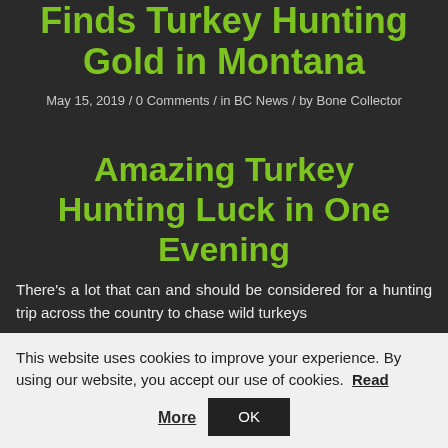Finds Turkey Hunting Gold in Montana
May 15, 2019 / 0 Comments / in BC News / by Bone Collector
Amazing Turkey Hunting Luck in One Evening
There's a lot that can and should be considered for a hunting trip across the country to chase wild turkeys
This website uses cookies to improve your experience. By using our website, you accept our use of cookies. Read More OK